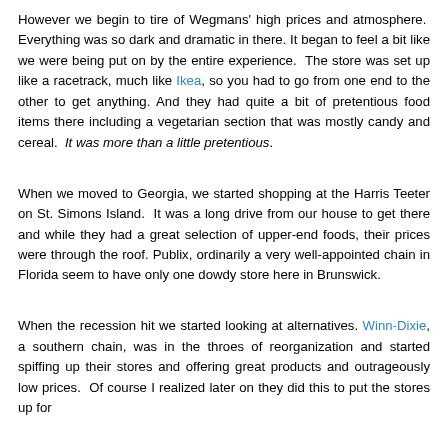However we begin to tire of Wegmans' high prices and atmosphere. Everything was so dark and dramatic in there. It began to feel a bit like we were being put on by the entire experience. The store was set up like a racetrack, much like Ikea, so you had to go from one end to the other to get anything. And they had quite a bit of pretentious food items there including a vegetarian section that was mostly candy and cereal. It was more than a little pretentious.
When we moved to Georgia, we started shopping at the Harris Teeter on St. Simons Island. It was a long drive from our house to get there and while they had a great selection of upper-end foods, their prices were through the roof. Publix, ordinarily a very well-appointed chain in Florida seem to have only one dowdy store here in Brunswick.
When the recession hit we started looking at alternatives. Winn-Dixie, a southern chain, was in the throes of reorganization and started spiffing up their stores and offering great products and outrageously low prices. Of course I realized later on they did this to put the stores up for